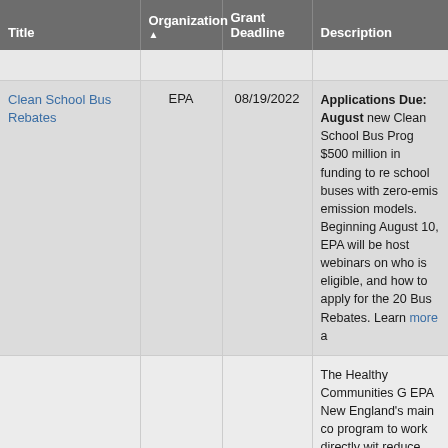| Title | Organization ▲ | Grant Deadline | Description |
| --- | --- | --- | --- |
|  |  |  |  |
| Clean School Bus Rebates | EPA | 08/19/2022 | Applications Due: August new Clean School Bus Prog $500 million in funding to re school buses with zero-emis emission models. Beginning August 10, EPA will be host webinars on who is eligible, and how to apply for the 20 Bus Rebates. Learn more a |
|  |  |  | The Healthy Communities G EPA New England's main co program to work directly wit reduce environmental risks, improve human health and i of life. The Healthy Commu Program will achieve this th and funding projects that: 1) to benefit communities at ris from climate change impact by stormwater run-off, envi |